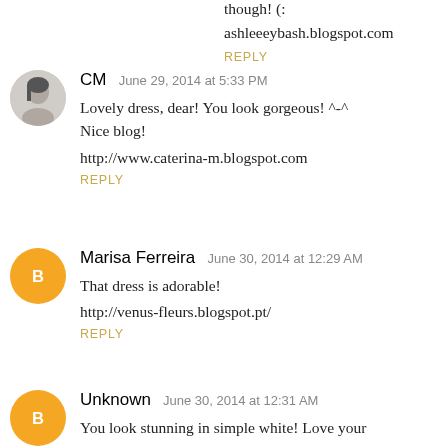though! (:
ashleeeybash.blogspot.com
REPLY
CM  June 29, 2014 at 5:33 PM
Lovely dress, dear! You look gorgeous! ^-^
Nice blog!
http://www.caterina-m.blogspot.com
REPLY
Marisa Ferreira  June 30, 2014 at 12:29 AM
That dress is adorable!
http://venus-fleurs.blogspot.pt/
REPLY
Unknown  June 30, 2014 at 12:31 AM
You look stunning in simple white! Love your